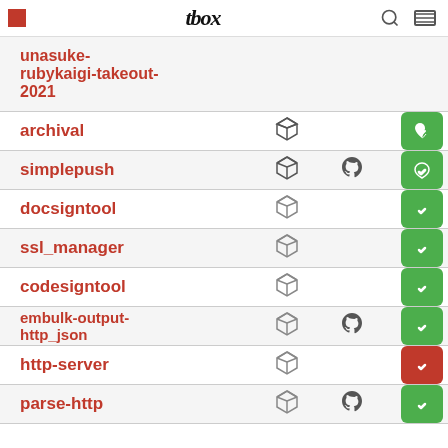tbox
| Name | Gem | GitHub | Status |
| --- | --- | --- | --- |
| unasuke-rubykaigi-takeout-2021 | gem |  | health-green |
| archival | gem |  | health-green |
| simplepush | gem | github | health-green |
| docsigntool | gem |  | health-green |
| ssl_manager | gem |  | health-green |
| codesigntool | gem |  | health-green |
| embulk-output-http_json | gem | github | health-green |
| http-server | gem |  | health-red |
| parse-http | gem | github | health-green |